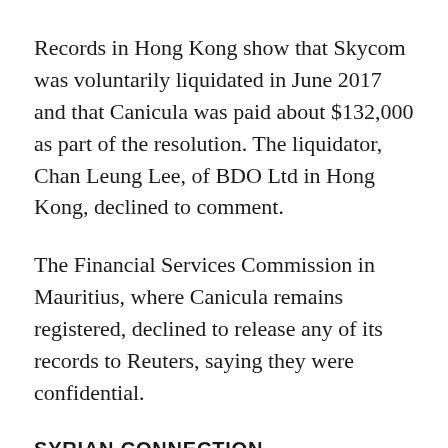Records in Hong Kong show that Skycom was voluntarily liquidated in June 2017 and that Canicula was paid about $132,000 as part of the resolution. The liquidator, Chan Leung Lee, of BDO Ltd in Hong Kong, declined to comment.
The Financial Services Commission in Mauritius, where Canicula remains registered, declined to release any of its records to Reuters, saying they were confidential.
SYRIAN CONNECTION
Until two years ago, Canicula had an office in Syria, another country that has been subject to U.S. and European Union sanctions. In May 2014, a Middle Eastern business website called Aliqtisadi.com